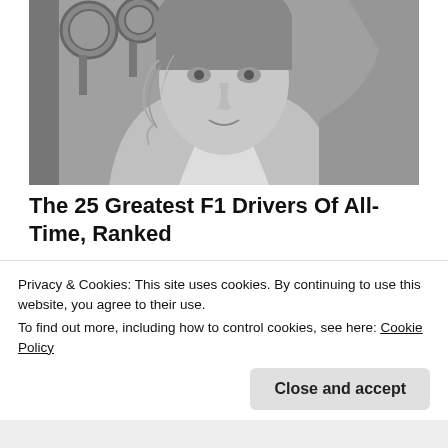[Figure (photo): Black and white photo of a Formula 1 driver (Niki Lauda) with scarring on his face, wearing a racing suit, with mechanical equipment in the background]
The 25 Greatest F1 Drivers Of All-Time, Ranked
New Arena
Share this:
Email  Tweet  Save
Privacy & Cookies: This site uses cookies. By continuing to use this website, you agree to their use.
To find out more, including how to control cookies, see here: Cookie Policy
Close and accept